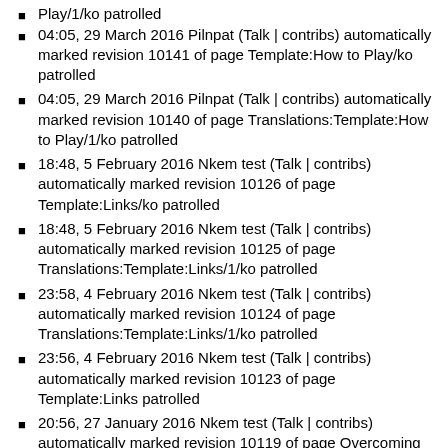Play/1/ko patrolled
04:05, 29 March 2016 Pilnpat (Talk | contribs) automatically marked revision 10141 of page Template:How to Play/ko patrolled
04:05, 29 March 2016 Pilnpat (Talk | contribs) automatically marked revision 10140 of page Translations:Template:How to Play/1/ko patrolled
18:48, 5 February 2016 Nkem test (Talk | contribs) automatically marked revision 10126 of page Template:Links/ko patrolled
18:48, 5 February 2016 Nkem test (Talk | contribs) automatically marked revision 10125 of page Translations:Template:Links/1/ko patrolled
23:58, 4 February 2016 Nkem test (Talk | contribs) automatically marked revision 10124 of page Translations:Template:Links/1/ko patrolled
23:56, 4 February 2016 Nkem test (Talk | contribs) automatically marked revision 10123 of page Template:Links patrolled
20:56, 27 January 2016 Nkem test (Talk | contribs) automatically marked revision 10119 of page Overcoming Obstacles/ko patrolled
20:56, 27 January 2016 Nkem test (Talk | contribs) automatically marked revision 10118 of page Translations:Overcoming Obstacles/22/ko patrolled
20:54, 27 January 2016 Nkem test (Talk | contribs)